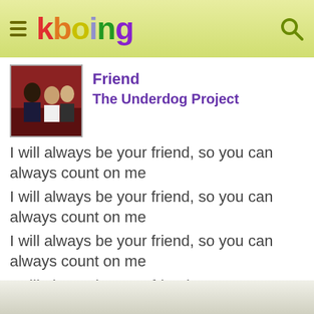kboing
[Figure (photo): Album art thumbnail showing group of people on red/dark background]
Friend
The Underdog Project
I will always be your friend, so you can always count on me
I will always be your friend, so you can always count on me
I will always be your friend, so you can always count on me
I will always be your friend, so you can always count on me